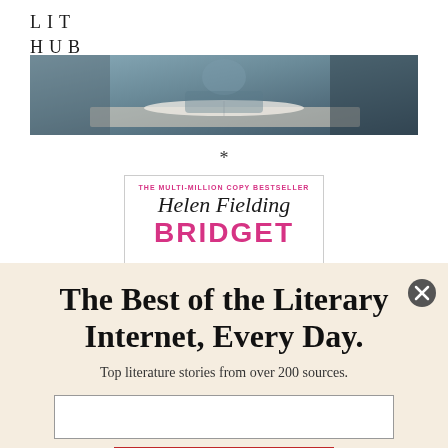LIT HUB
[Figure (photo): Person sitting at a table with an open book, blurred background, photo banner at top of page]
*
[Figure (illustration): Book cover: THE MULTI-MILLION COPY BESTSELLER, Helen Fielding, BRIDGET (title partially visible), hot pink bold lettering on white background with border]
The Best of the Literary Internet, Every Day.
Top literature stories from over 200 sources.
SUBSCRIBE